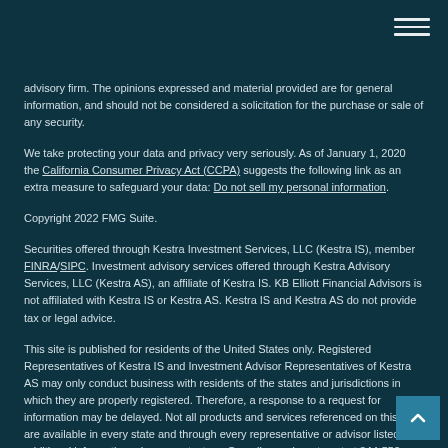advisory firm. The opinions expressed and material provided are for general information, and should not be considered a solicitation for the purchase or sale of any security.
We take protecting your data and privacy very seriously. As of January 1, 2020 the California Consumer Privacy Act (CCPA) suggests the following link as an extra measure to safeguard your data: Do not sell my personal information.
Copyright 2022 FMG Suite.
Securities offered through Kestra Investment Services, LLC (Kestra IS), member FINRA/SIPC. Investment advisory services offered through Kestra Advisory Services, LLC (Kestra AS), an affiliate of Kestra IS. KB Elliott Financial Advisors is not affiliated with Kestra IS or Kestra AS. Kestra IS and Kestra AS do not provide tax or legal advice.
This site is published for residents of the United States only. Registered Representatives of Kestra IS and Investment Advisor Representatives of Kestra AS may only conduct business with residents of the states and jurisdictions in which they are properly registered. Therefore, a response to a request for information may be delayed. Not all products and services referenced on this site are available in every state and through every representative or advisor listed. For additional information, please contact our Compliance department at 844-553-7872.
Working with a SmartVestor Pro does not guarantee investment success, and no